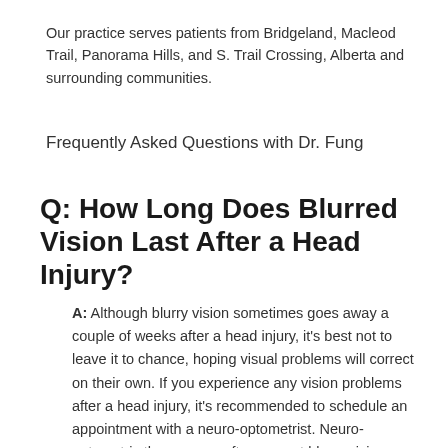Our practice serves patients from Bridgeland, Macleod Trail, Panorama Hills, and S. Trail Crossing, Alberta and surrounding communities.
Frequently Asked Questions with Dr. Fung
Q: How Long Does Blurred Vision Last After a Head Injury?
A: Although blurry vision sometimes goes away a couple of weeks after a head injury, it's best not to leave it to chance, hoping visual problems will correct on their own. If you experience any vision problems after a head injury, it's recommended to schedule an appointment with a neuro-optometrist. Neuro-optometric therapy can often correct blurry vision long-term by dealing with the root cause of your vision